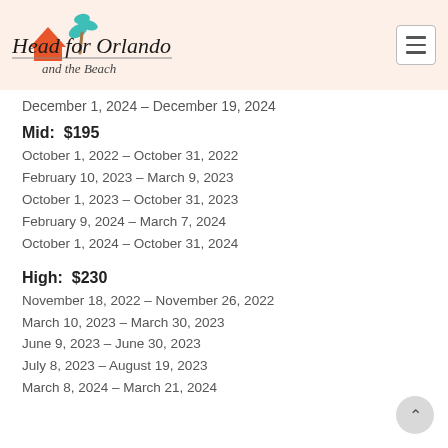[Figure (logo): Head for Orlando and the Beach logo with house/roof icon and palm tree]
December 1, 2024 – December 19, 2024
Mid:  $195
October 1, 2022 – October 31, 2022
February 10, 2023 – March 9, 2023
October 1, 2023 – October 31, 2023
February 9, 2024 – March 7, 2024
October 1, 2024 – October 31, 2024
High:  $230
November 18, 2022 – November 26, 2022
March 10, 2023 – March 30, 2023
June 9, 2023 – June 30, 2023
July 8, 2023 – August 19, 2023
March 8, 2024 – March 21, 2024